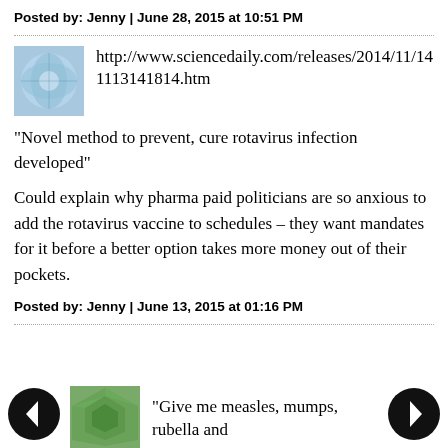Posted by: Jenny | June 28, 2015 at 10:51 PM
[Figure (photo): Thumbnail image for sciencedaily link, blue/teal microscopy image]
http://www.sciencedaily.com/releases/2014/11/141113141814.htm
"Novel method to prevent, cure rotavirus infection developed"
Could explain why pharma paid politicians are so anxious to add the rotavirus vaccine to schedules – they want mandates for it before a better option takes more money out of their pockets.
Posted by: Jenny | June 13, 2015 at 01:16 PM
[Figure (photo): Thumbnail image, green mosaic/leaf pattern]
"Give me measles, mumps, rubella and